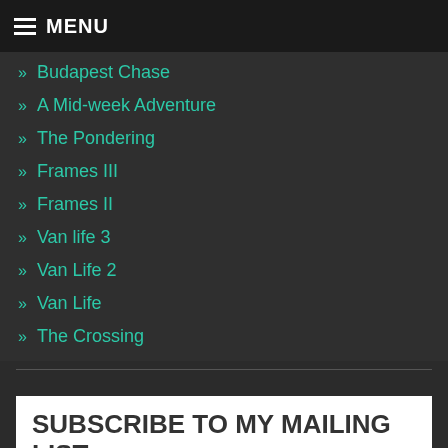MENU
» Budapest Chase
» A Mid-week Adventure
» The Pondering
» Frames III
» Frames II
» Van life 3
» Van Life 2
» Van Life
» The Crossing
SUBSCRIBE TO MY MAILING LIST